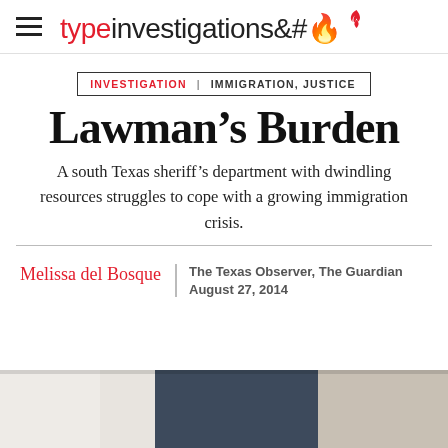typeinvestigations
INVESTIGATION | IMMIGRATION, JUSTICE
Lawman's Burden
A south Texas sheriff's department with dwindling resources struggles to cope with a growing immigration crisis.
Melissa del Bosque   The Texas Observer, The Guardian   August 27, 2014
[Figure (photo): Cropped photo of people, shown from waist down, wearing jeans and white shirt, partial view at bottom of page]